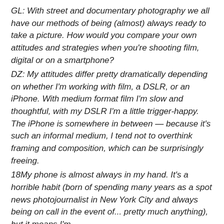GL: With street and documentary photography we all have our methods of being (almost) always ready to take a picture. How would you compare your own attitudes and strategies when you're shooting film, digital or on a smartphone?
DZ: My attitudes differ pretty dramatically depending on whether I'm working with film, a DSLR, or an iPhone. With medium format film I'm slow and thoughtful, with my DSLR I'm a little trigger-happy. The iPhone is somewhere in between — because it's such an informal medium, I tend not to overthink framing and composition, which can be surprisingly freeing.
18My phone is almost always in my hand. It's a horrible habit (born of spending many years as a spot news photojournalist in New York City and always being on call in the event of... pretty much anything), but it means I'm